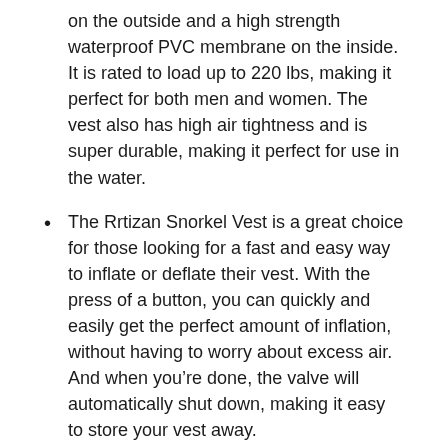on the outside and a high strength waterproof PVC membrane on the inside. It is rated to load up to 220 lbs, making it perfect for both men and women. The vest also has high air tightness and is super durable, making it perfect for use in the water.
The Rrtizan Snorkel Vest is a great choice for those looking for a fast and easy way to inflate or deflate their vest. With the press of a button, you can quickly and easily get the perfect amount of inflation, without having to worry about excess air. And when you’re done, the valve will automatically shut down, making it easy to store your vest away.
The Rrtizan Snorkel Vest features an adjustable waist and crotch straps for a secure and worry-free fit. The easy-pinch buckles make it quick and easy to remove,